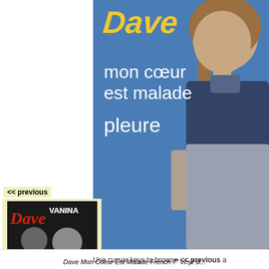[Figure (photo): Album cover for Dave 'Mon Coeur Est Malade / Pleure' - French 7 inch vinyl single. Blue background with a man with long hair wearing a navy t-shirt and patterned neckerchief, sitting casually. Yellow/white text reads 'Dave' at top, then 'mon coeur est malade' and 'pleure' below.]
<< previous
[Figure (photo): Thumbnail of Dave Vanina French 7 inch vinyl album cover showing Dave with a woman (Vanina), black and white photo with Dave logo text.]
Dave Vanina French 7" vinyl
Use cursor keys to browse << previous a
Dave Mon Coeur Est Malade French 7" vinyl si...